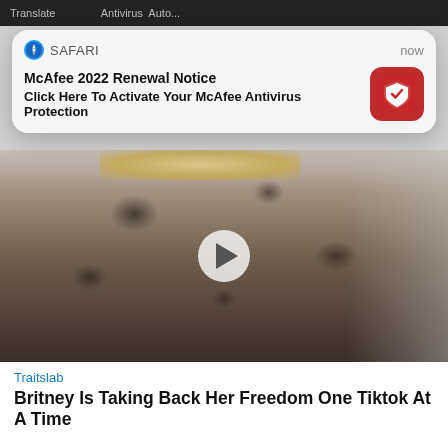Translate... Antivirus Auto...
[Figure (screenshot): Safari browser push notification card. Header shows Safari compass icon and label 'SAFARI' on left, 'now' on right. Body shows bold title 'McAfee 2022 Renewal Notice' and subtitle 'Click Here To Activate Your McAfee Antivirus Protection', with McAfee shield icon on the right.]
[Figure (photo): Video thumbnail of a blonde woman in a black leopard-print bodysuit with arms raised, inside a home. A white play button overlay is centered on the image.]
Traitslab
Britney Is Taking Back Her Freedom One Tiktok At A Time
[Figure (photo): Partial photo at bottom of page showing a woman holding a red mask above her head, with golden-warm background lighting.]